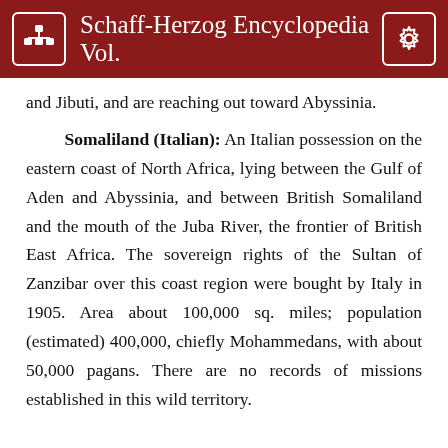Schaff-Herzog Encyclopedia Vol.
and Jibuti, and are reaching out toward Abyssinia.
Somaliland (Italian): An Italian possession on the eastern coast of North Africa, lying between the Gulf of Aden and Abyssinia, and between British Somaliland and the mouth of the Juba River, the frontier of British East Africa. The sovereign rights of the Sultan of Zanzibar over this coast region were bought by Italy in 1905. Area about 100,000 sq. miles; population (estimated) 400,000, chiefly Mohammedans, with about 50,000 pagans. There are no records of missions established in this wild territory.